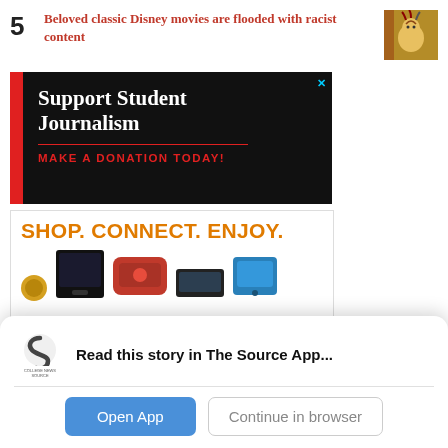5  Beloved classic Disney movies are flooded with racist content
[Figure (photo): Thumbnail image of a classic Disney movie scene]
[Figure (infographic): Advertisement: Support Student Journalism - Make A Donation Today! Black background with red stripe and red text on white divider line.]
[Figure (infographic): Advertisement: SHOP. CONNECT. ENJOY. with product images including kitchenware and electronics]
Read this story in The Source App...
Open App   Continue in browser